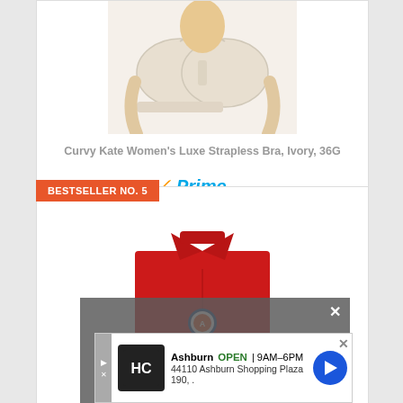[Figure (photo): Photo of a white/ivory strapless bra worn by a model, cropped to torso]
Curvy Kate Women's Luxe Strapless Bra, Ivory, 36G
[Figure (logo): Amazon Prime logo with orange checkmark and blue italic Prime text]
[Figure (other): Orange button with shopping cart icon labeled Check Latest Price]
BESTSELLER NO. 5
[Figure (photo): Photo of a folded red dress shirt with collar and badge]
[Figure (screenshot): Gray video overlay with text: No compatible source was found for this media. and close button]
[Figure (other): Advertisement banner: HC logo, Ashburn OPEN 9AM-6PM, 44110 Ashburn Shopping Plaza 190, with blue navigation arrow]